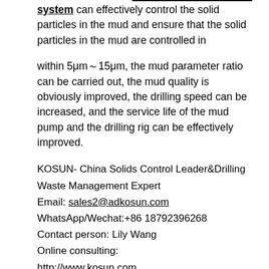system can effectively control the solid particles in the mud and ensure that the solid particles in the mud are controlled in
within 5μm～15μm, the mud parameter ratio can be carried out, the mud quality is obviously improved, the drilling speed can be increased, and the service life of the mud pump and the drilling rig can be effectively improved.
KOSUN- China Solids Control Leader&Drilling Waste Management Expert
Email: sales2@adkosun.com
WhatsApp/Wechat:+86 18792396268
Contact person: Lily Wang
Online consulting:
http://www.kosun.com
http://www.kosuneco.com